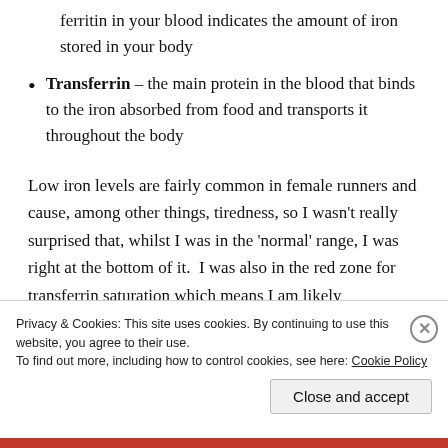ferritin in your blood indicates the amount of iron stored in your body
Transferrin – the main protein in the blood that binds to the iron absorbed from food and transports it throughout the body
Low iron levels are fairly common in female runners and cause, among other things, tiredness, so I wasn’t really surprised that, whilst I was in the ‘normal’ range, I was right at the bottom of it. I was also in the red zone for transferrin saturation which means I am likely
Privacy & Cookies: This site uses cookies. By continuing to use this website, you agree to their use. To find out more, including how to control cookies, see here: Cookie Policy
Close and accept